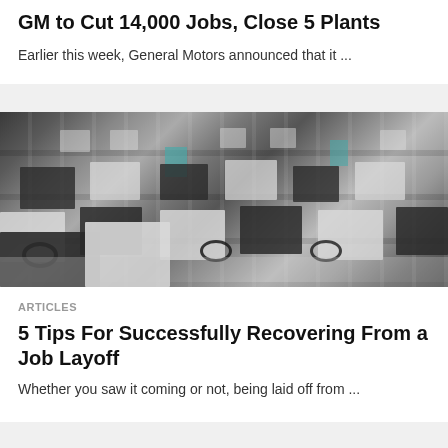GM to Cut 14,000 Jobs, Close 5 Plants
Earlier this week, General Motors announced that it ...
[Figure (photo): Black and white photo of a computer lab with rows of desktop computers and monitors, some with headphones on the desks. A few teal/blue monitors are visible among the mostly grayscale scene.]
ARTICLES
5 Tips For Successfully Recovering From a Job Layoff
Whether you saw it coming or not, being laid off from ...